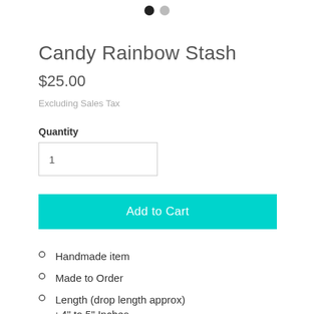[Figure (other): Two navigation dots: one black (active), one gray]
Candy Rainbow Stash
$25.00
Excluding Sales Tax
Quantity
1
Add to Cart
Handmade item
Made to Order
Length (drop length approx) : 4" to 5" Inches